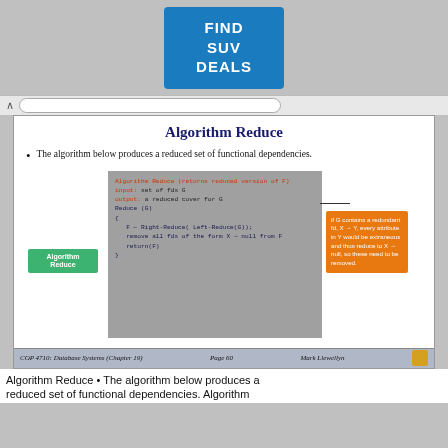[Figure (screenshot): Advertisement banner: blue box with white bold text reading FIND SUV DEALS]
Algorithm Reduce
The algorithm below produces a reduced set of functional dependencies.
[Figure (screenshot): Algorithm Reduce pseudocode diagram with gray background, green label 'Algorithm Reduce', red/blue pseudocode text, and orange annotation box explaining redundant fds]
COP 4710: Database Systems  (Chapter 19)    Page 60    Mark Llewellyn
Algorithm Reduce • The algorithm below produces a reduced set of functional dependencies. Algorithm